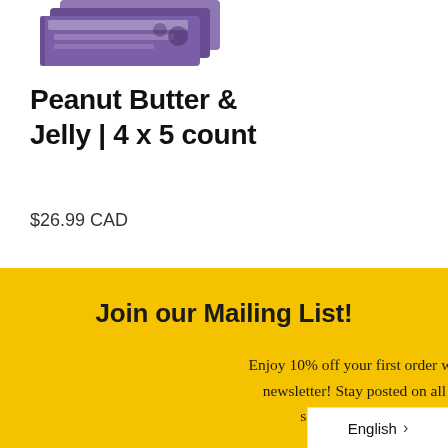[Figure (photo): Product package image showing Peanut Butter & Jelly snack bars, purple/dark packaging with text, partially cropped at top]
Peanut Butter & Jelly | 4 x 5 count
$26.99 CAD
Join our Mailing List!
Enjoy 10% off your first order when you sign up to our newsletter! Stay posted on all the sweet new deals, seasonal discounts and future offerin...
English >